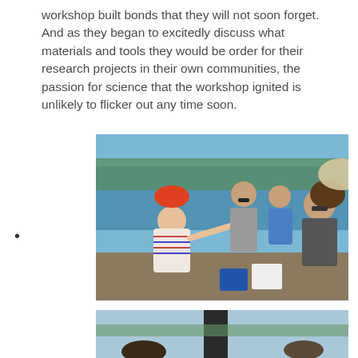workshop built bonds that they will not soon forget. And as they began to excitedly discuss what materials and tools they would be order for their research projects in their own communities, the passion for science that the workshop ignited is unlikely to flicker out any time soon.
•
[Figure (photo): Group of people standing near a lake or river shore, collecting or examining water samples. A person in a red and orange hat and striped shirt reaches out toward others. Background shows water and trees.]
[Figure (photo): Partial view of people gathered outdoors, bottom portion of second photo visible.]